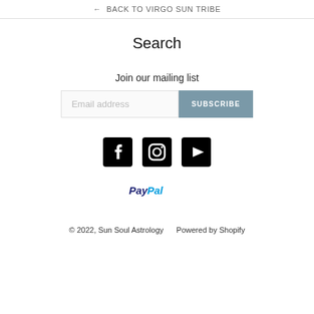← BACK TO VIRGO SUN TRIBE
Search
Join our mailing list
[Figure (screenshot): Email address input field with SUBSCRIBE button]
[Figure (other): Social media icons: Facebook, Instagram, YouTube]
[Figure (logo): PayPal logo]
© 2022, Sun Soul Astrology    Powered by Shopify